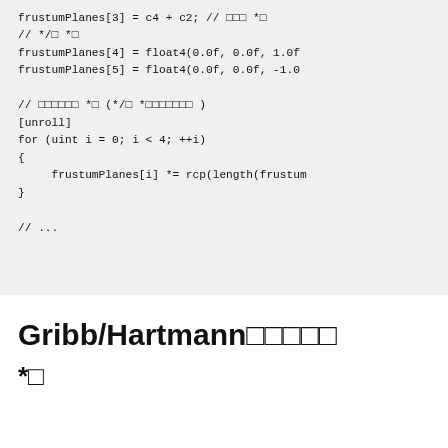[Figure (other): Code block showing HLSL/GLSL shader code for frustum plane calculations with comments in Japanese characters, including a for loop with [unroll] directive]
Gribb/Hartmann□□□□□
*□